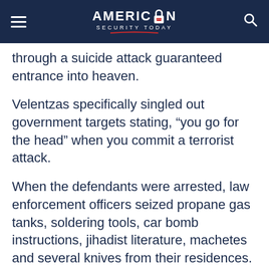American Security Today
through a suicide attack guaranteed entrance into heaven.
Velentzas specifically singled out government targets stating, “you go for the head” when you commit a terrorist attack.
When the defendants were arrested, law enforcement officers seized propane gas tanks, soldering tools, car bomb instructions, jihadist literature, machetes and several knives from their residences.